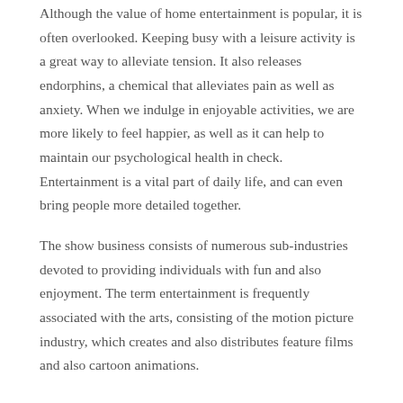Although the value of home entertainment is popular, it is often overlooked. Keeping busy with a leisure activity is a great way to alleviate tension. It also releases endorphins, a chemical that alleviates pain as well as anxiety. When we indulge in enjoyable activities, we are more likely to feel happier, as well as it can help to maintain our psychological health in check. Entertainment is a vital part of daily life, and can even bring people more detailed together.
The show business consists of numerous sub-industries devoted to providing individuals with fun and also enjoyment. The term entertainment is frequently associated with the arts, consisting of the motion picture industry, which creates and also distributes feature films and also cartoon animations.